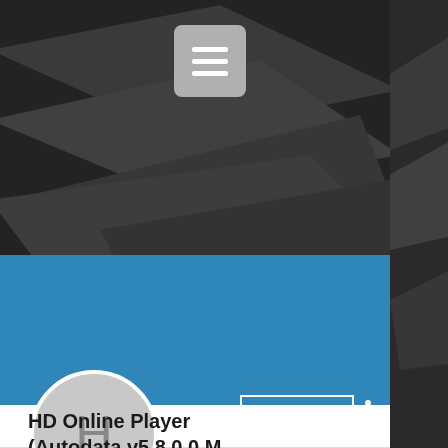[Figure (screenshot): Mobile app screenshot showing a user profile page. Dark background with arrow pattern at top, blue header bar, circular avatar with letter H, Follow button, three-dot menu, username 'HD Online Player (Autodata.v5.8.0.0.M...', 0 Followers and 0 Following, a content divider, blue FAB button with three dots, and Profile section header.]